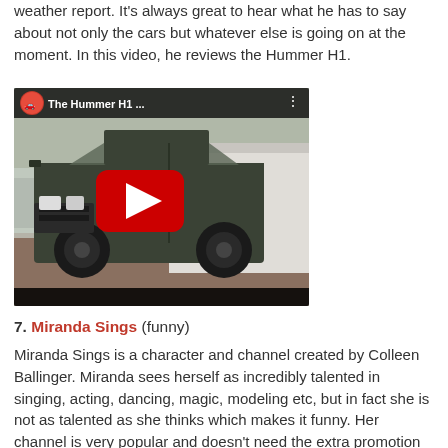weather report. It's always great to hear what he has to say about not only the cars but whatever else is going on at the moment. In this video, he reviews the Hummer H1.
[Figure (screenshot): YouTube video thumbnail showing a Hummer H1 vehicle parked in a lot, with a red play button in the center, channel avatar in top-left, and title 'The Hummer H1 ...' displayed.]
7. Miranda Sings (funny)
Miranda Sings is a character and channel created by Colleen Ballinger. Miranda sees herself as incredibly talented in singing, acting, dancing, magic, modeling etc, but in fact she is not as talented as she thinks which makes it funny. Her channel is very popular and doesn't need the extra promotion but I have not featured it here yet and I have to